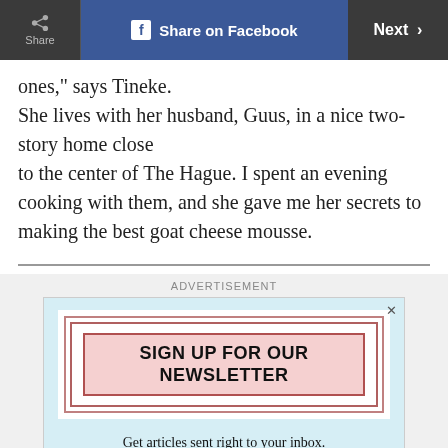Share | Share on Facebook | Next >
ones," says Tineke.
She lives with her husband, Guus, in a nice two-story home close
to the center of The Hague. I spent an evening cooking with them, and she gave me her secrets to making the best goat cheese mousse.
[Figure (screenshot): Advertisement box with newsletter signup: 'SIGN UP FOR OUR NEWSLETTER - Get articles sent right to your inbox.' with phone image below]